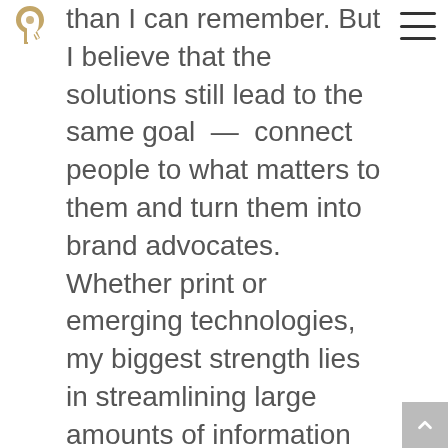[logo] [hamburger menu]
than I can remember. But I believe that the solutions still lead to the same goal — connect people to what matters to them and turn them into brand advocates. Whether print or emerging technologies, my biggest strength lies in streamlining large amounts of information into driving ideas, solutions and brand love.
Working in this field for the past 20 years, I've learned that while technology, trends and